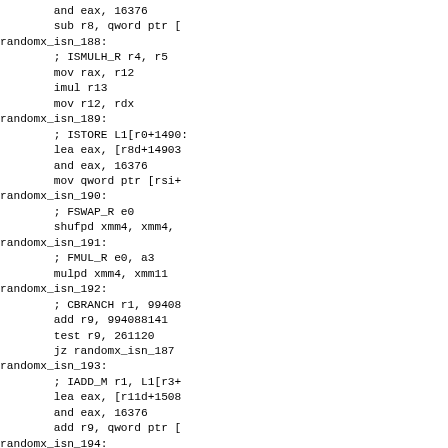and eax, 16376
        sub r8, qword ptr [
randomx_isn_188:
        ; ISMULH_R r4, r5
        mov rax, r12
        imul r13
        mov r12, rdx
randomx_isn_189:
        ; ISTORE L1[r0+1490
        lea eax, [r8d+14903
        and eax, 16376
        mov qword ptr [rsi+
randomx_isn_190:
        ; FSWAP_R e0
        shufpd xmm4, xmm4,
randomx_isn_191:
        ; FMUL_R e0, a3
        mulpd xmm4, xmm11
randomx_isn_192:
        ; CBRANCH r1, 99408
        add r9, 994088141
        test r9, 261120
        jz randomx_isn_187
randomx_isn_193:
        ; IADD_M r1, L1[r3+
        lea eax, [r11d+1508
        and eax, 16376
        add r9, qword ptr [
randomx_isn_194:
        ; IROR_R r0, 46
        ror r8, 46
randomx_isn_195:
        ; FSUB_R f1, a3